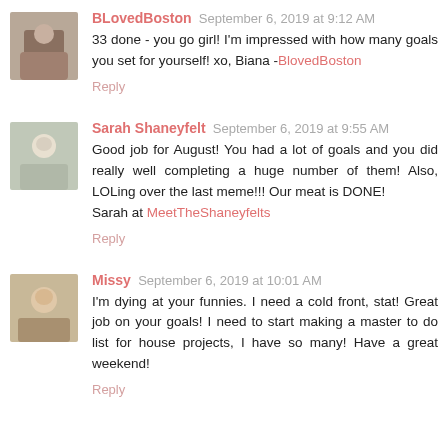BLovedBoston September 6, 2019 at 9:12 AM
33 done - you go girl! I'm impressed with how many goals you set for yourself! xo, Biana -BlovedBoston
Reply
Sarah Shaneyfelt September 6, 2019 at 9:55 AM
Good job for August! You had a lot of goals and you did really well completing a huge number of them! Also, LOLing over the last meme!!! Our meat is DONE! Sarah at MeetTheShaneyfelts
Reply
Missy September 6, 2019 at 10:01 AM
I'm dying at your funnies. I need a cold front, stat! Great job on your goals! I need to start making a master to do list for house projects, I have so many! Have a great weekend!
Reply